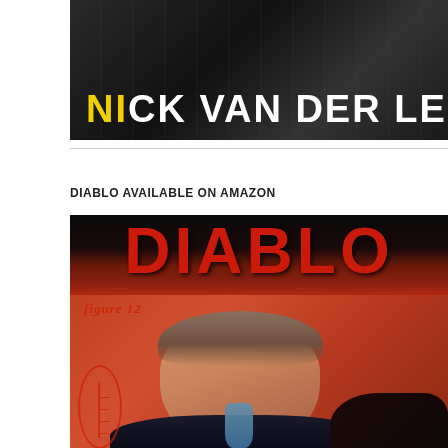[Figure (photo): Header banner image: black and white photo of a building/courthouse in the background with large bold text 'NICK VAN DER LEEK' overlaid. 'NI' is in yellow, 'CK' and the rest of the name is in white, all caps.]
DIABLO AVAILABLE ON AMAZON
[Figure (photo): Book cover image for 'DIABLO' by Nick van der Leek. Large red bold 'DIABLO' text at top on a dark background. Below shows a young man in a dark suit with a blue tie looking at the camera, with a reddish-orange background and what appears to be a forensic measurement chart. Text 'Figure 12' visible. Bottom right shows partial view of another person.]